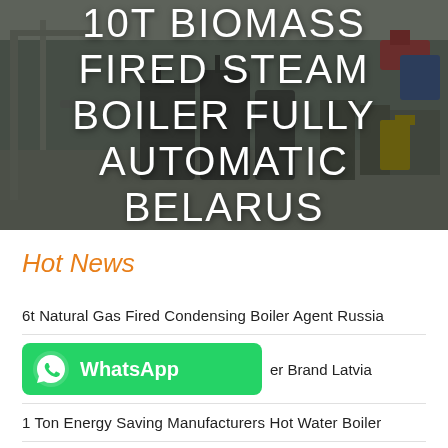[Figure (photo): Industrial boiler manufacturing facility interior with dark overlay, showing large industrial equipment and machinery in a warehouse setting.]
10T BIOMASS FIRED STEAM BOILER FULLY AUTOMATIC BELARUS
Hot News
6t Natural Gas Fired Condensing Boiler Agent Russia
er Brand Latvia
1 Ton Energy Saving Manufacturers Hot Water Boiler